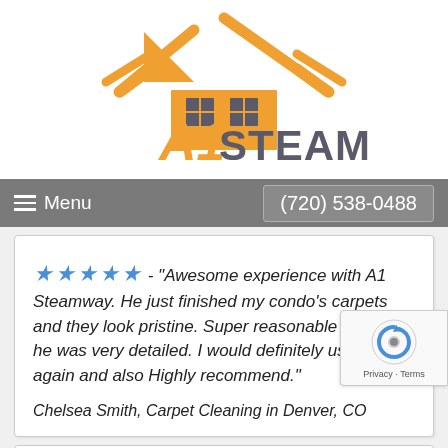[Figure (logo): A1 Steam Way logo with orange house/roof icon and text 'A1 STEAM WAY']
Menu   (720) 538-0488
★★★★★ - "Awesome experience with A1 Steamway. He just finished my condo's carpets and they look pristine. Super reasonable bid and he was very detailed. I would definitely use him again and also Highly recommend."
Chelsea Smith, Carpet Cleaning in Denver, CO
★★★★★ - "Their service is exceptionally good